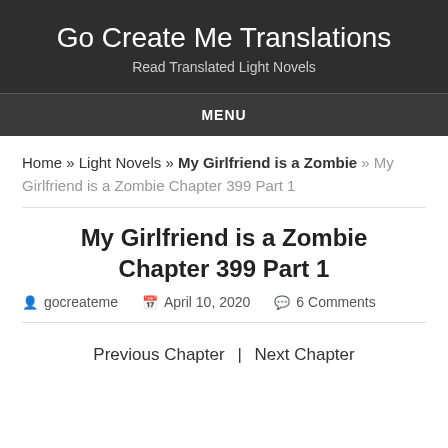Go Create Me Translations
Read Translated Light Novels
MENU
Home » Light Novels » My Girlfriend is a Zombie » My Girlfriend is a Zombie Chapter 399 Part 1
My Girlfriend is a Zombie Chapter 399 Part 1
gocreateme   April 10, 2020   6 Comments
Previous Chapter | Next Chapter